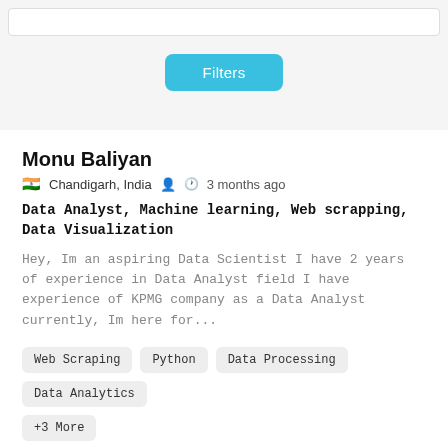[Figure (screenshot): Filters button in light blue/cyan color on a grey background top bar]
Monu Baliyan
🇮🇳 Chandigarh, India   👤   🕐 3 months ago
Data Analyst, Machine learning, Web scrapping, Data Visualization
Hey, Im an aspiring Data Scientist I have 2 years of experience in Data Analyst field I have experience of KPMG company as a Data Analyst currently, Im here for...
Web Scraping
Python
Data Processing
Data Analytics
+3 More